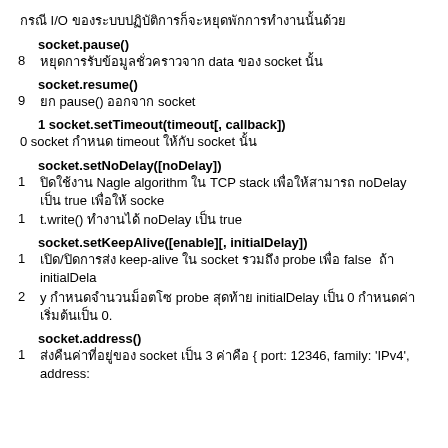กรณี I/O ของระบบปฏิบัติการก็จะหยุดพักการทำงานนั้นด้วย
socket.pause()
8
หยุดการรับข้อมูลชั่วคราวจาก data event ของ socket นั้น
socket.resume()
9
ยก pause() ออกจาก socket
1 socket.setTimeout(timeout[, callback])
0 socket กำหนด timeout ให้กับ socket นั้น
socket.setNoDelay([noDelay])
1
ปิดใช้งาน Nagle algorithm ใน TCP stack เพื่อให้สามารถ noDelay เป็น true เพื่อให้ socket.write() ทำงานได้ noDelay เป็น true แทน
socket.setKeepAlive([enable][, initialDelay])
1
เปิด/ปิดการส่ง keep-alive ใน socket รวมถึง probe เพิ่มเตอะ false ถ้า initialDelay กำหนดจำนวนม็อตโซ initialDelay ระหว่าง probe สุดท้าย initialDelay เป็น 0 กำหนดค่าเริ่มต้นเป็น 0.
socket.address()
1
ส่งคืนค่าที่อยู่ของ socket เป็น 3 ค่าคือ { port: 12346, family: 'IPv4', address: